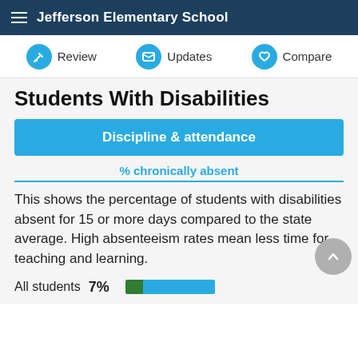Jefferson Elementary School
Students With Disabilities
Discipline & attendance
% chronically absent
This shows the percentage of students with disabilities absent for 15 or more days compared to the state average. High absenteeism rates mean less time for teaching and learning.
All students 7%